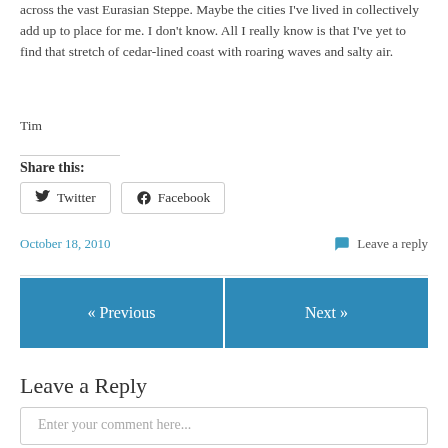across the vast Eurasian Steppe. Maybe the cities I've lived in collectively add up to place for me. I don't know. All I really know is that I've yet to find that stretch of cedar-lined coast with roaring waves and salty air.
Tim
Share this:
Twitter
Facebook
October 18, 2010
Leave a reply
« Previous
Next »
Leave a Reply
Enter your comment here...